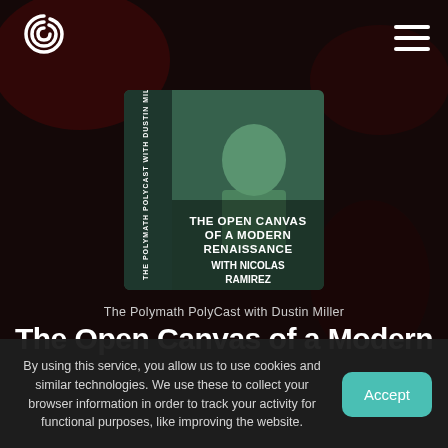[Figure (logo): Polymath PolyCast spiral P logo in white]
[Figure (illustration): Podcast episode cover art: green-tinted image of Nicolas Ramirez sitting, with text 'THE OPEN CANVAS OF A MODERN RENAISSANCE WITH NICOLAS RAMIREZ' and vertical text 'THE POLYMATH POLYCAST WITH DUSTIN MILLER']
The Polymath PolyCast with Dustin Miller
The Open Canvas of a Modern
By using this service, you allow us to use cookies and similar technologies. We use these to collect your browser information in order to track your activity for functional purposes, like improving the website.